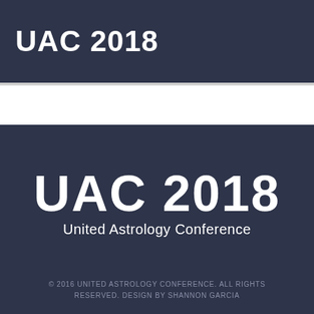UAC 2018
[Figure (logo): UAC 2018 United Astrology Conference logo centered on dark navy background]
© 2016 UNITED ASTROLOGY CONFERENCE. ALL RIGHTS RESERVED. DESIGN BY SHANNON GARCIA